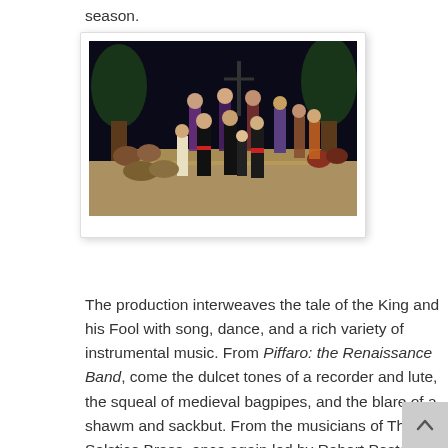season.
[Figure (photo): Stage performance with a large cast of performers in medieval/Renaissance costumes on a theater stage with dark background and tree props. Several performers in black costumes are in the center foreground.]
The production interweaves the tale of the King and his Fool with song, dance, and a rich variety of instrumental music. From Piffaro: the Renaissance Band, come the dulcet tones of a recorder and lute, the squeal of medieval bagpipes, and the blare of a shawm and sackbut. From the musicians of The Solstice Brass, once again led by Robert Posten, sound forth trumpet fanfares and robust accompaniment to processional and carols. Belled and masked, the Foggy Bottom Morris Men appear in several guises, in wonderful wild dances